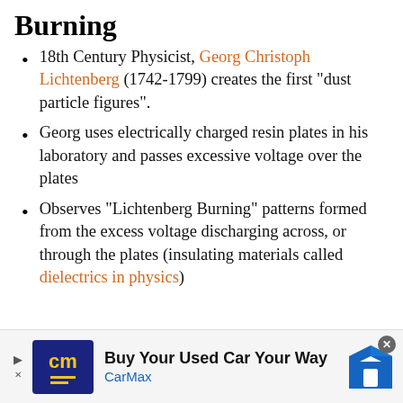Burning
18th Century Physicist, Georg Christoph Lichtenberg (1742-1799) creates the first “dust particle figures”.
Georg uses electrically charged resin plates in his laboratory and passes excessive voltage over the plates
Observes “Lichtenberg Burning” patterns formed from the excess voltage discharging across, or through the plates (insulating materials called dielectrics in physics)
[Figure (screenshot): Advertisement bar: CarMax 'Buy Your Used Car Your Way' ad with logo and navigation icon]